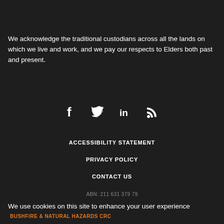We acknowledge the traditional custodians across all the lands on which we live and work, and we pay our respects to Elders both past and present.
[Figure (infographic): Social media icons: Facebook (f), Twitter (bird), LinkedIn (in), RSS feed]
ACCESSIBILITY STATEMENT
PRIVACY POLICY
CONTACT US
ABN: 211 631 379 79
We use cookies on this site to enhance your user experience  BUSHFIRE & NATURAL HAZARDS CRC
By clicking any link on this page you are giving your consent for us to